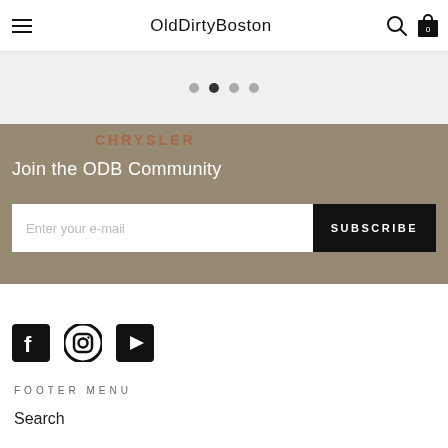OldDirtyBoston
[Figure (other): Carousel pagination dots, 4 dots with second one active]
[Figure (other): Community signup section with background image overlay showing Chrysler building, title 'Join the ODB Community', email input field and SUBSCRIBE button]
[Figure (other): Social media icons: Facebook, Instagram, YouTube]
FOOTER MENU
Search